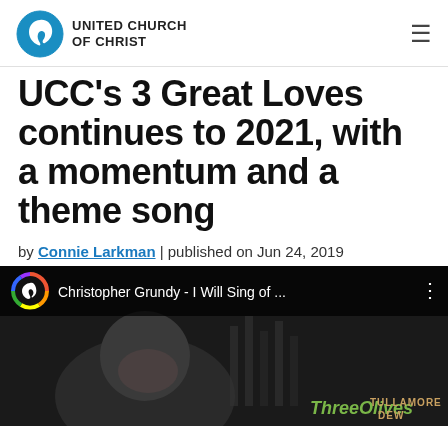UNITED CHURCH OF CHRIST
UCC's 3 Great Loves continues to 2021, with a momentum and a theme song
by Connie Larkman | published on Jun 24, 2019
[Figure (screenshot): YouTube video thumbnail showing Christopher Grundy - I Will Sing of ... with a man smiling and brand logos Three Olives and Tullamore Dew in the background]